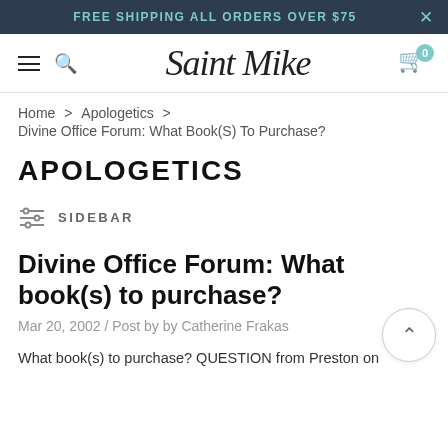FREE SHIPPING ALL ORDERS OVER $75
[Figure (logo): Saint Mike cursive script logo with hamburger menu, search icon, and cart icon with badge showing 0]
Home > Apologetics > Divine Office Forum: What Book(S) To Purchase?
APOLOGETICS
SIDEBAR
Divine Office Forum: What book(s) to purchase?
Mar 20, 2002 / Post by by Catherine Frakas
What book(s) to purchase? QUESTION from Preston on